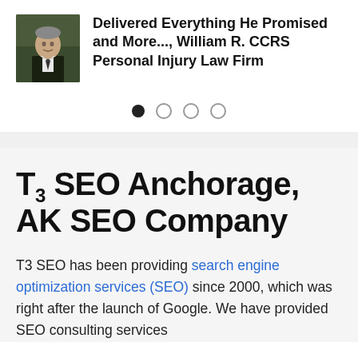[Figure (photo): Portrait photo of a man in a suit, standing in front of a dark background (bookshelves)]
Delivered Everything He Promised and More..., William R. CCRS Personal Injury Law Firm
• ○ ○ ○ (carousel navigation dots)
T3 SEO Anchorage, AK SEO Company
T3 SEO has been providing search engine optimization services (SEO) since 2000, which was right after the launch of Google. We have provided SEO consulting services